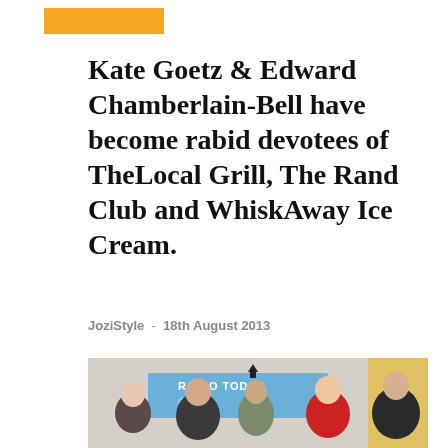[Figure (other): Orange decorative bar/header accent]
Kate Goetz & Edward Chamberlain-Bell have become rabid devotees of TheLocal Grill, The Rand Club and WhiskAway Ice Cream.
JoziStyle  -  18th August 2013
[Figure (photo): Group photo of five people in front of a Radio Today banner/sign in what appears to be an indoor setting. People include women and men, one wearing a red top/scarf.]